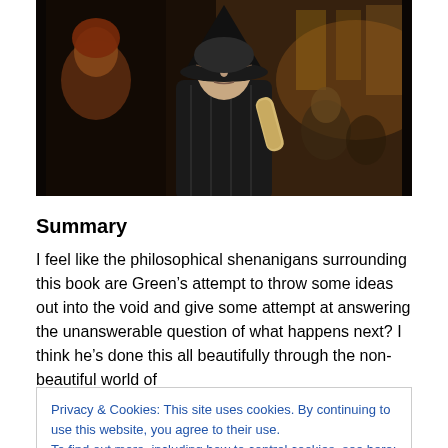[Figure (photo): A scene from Harry Potter showing Professor McGonagall in a black pointed hat and dark robes, holding a scroll, surrounded by students in a grand hall setting with stained glass windows in the background.]
Summary
I feel like the philosophical shenanigans surrounding this book are Green’s attempt to throw some ideas out into the void and give some attempt at answering the unanswerable question of what happens next? I think he’s done this all beautifully through the non-beautiful world of
Privacy & Cookies: This site uses cookies. By continuing to use this website, you agree to their use.
To find out more, including how to control cookies, see here: Cookie Policy
knows, you might hate it, but if you don’t, I think you’ll find